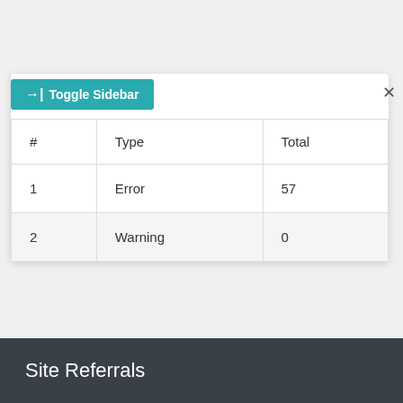[Figure (screenshot): Toggle Sidebar button (teal) with arrow icon and X close button]
| # | Type | Total |
| --- | --- | --- |
| 1 | Error | 57 |
| 2 | Warning | 0 |
Site Referrals